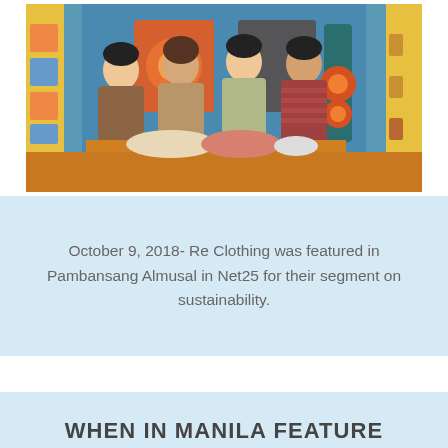[Figure (photo): Four people (three women and one man) standing together in a colorful TV studio set with blue, yellow, and teal panels. Fabric items are displayed on a table in front of them.]
October 9, 2018- Re Clothing was featured in Pambansang Almusal in Net25 for their segment on sustainability.
WHEN IN MANILA FEATURE